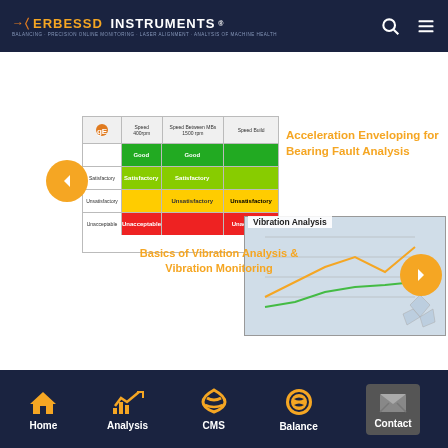ERBESSD INSTRUMENTS
most our Podmaster
[Figure (infographic): Carousel slide showing ISO vibration severity chart with color-coded bands (Good, Satisfactory, Unsatisfactory, Unacceptable) and overlaid text 'Acceleration Enveloping for Bearing Fault Analysis' in orange, with left navigation arrow button]
[Figure (photo): Vibration Analysis photo showing charts and polar plot diagrams with label 'Vibration Analysis' and orange right navigation arrow button, and text overlay 'Basics of Vibration Analysis & Vibration Monitoring']
Home
Analysis
CMS
Balance
Contact